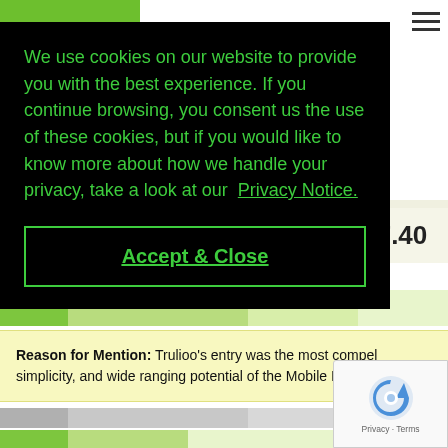[Figure (screenshot): Green logo stub in top-left corner of website header]
[Figure (screenshot): Hamburger menu icon (three horizontal lines) in top-right corner]
We use cookies on our website to provide you with the best experience. If you continue browsing, you consent us the use of these cookies, but if you would like to know more about how we handle your privacy, take a look at our Privacy Notice.
Accept & Close
7.40
Reason for Mention: Trulioo's entry was the most compel simplicity, and wide ranging potential of the Mobile ID solut
[Figure (logo): reCAPTCHA logo with Privacy - Terms text]